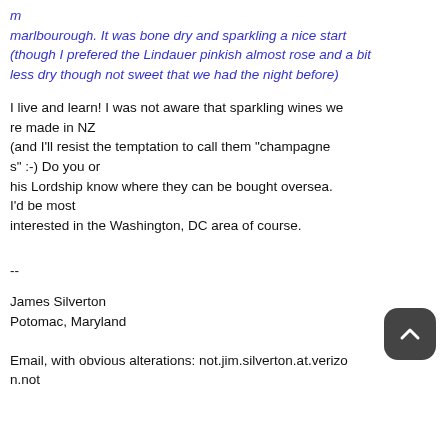m
marlbourough. It was bone dry and sparkling a nice start (though I prefered the Lindauer pinkish almost rose and a bit
less dry though not sweet that we had the night before)
I live and learn! I was not aware that sparkling wines we re made in NZ
(and I'll resist the temptation to call them "champagnes" :-) Do you or
his Lordship know where they can be bought oversea. I'd be most
interested in the Washington, DC area of course.
--
James Silverton
Potomac, Maryland
Email, with obvious alterations: not.jim.silverton.at.verizon.not